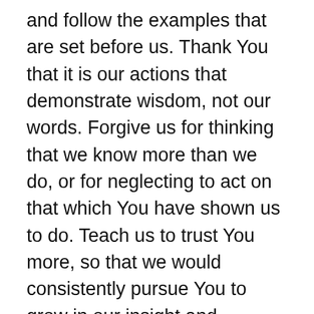and follow the examples that are set before us. Thank You that it is our actions that demonstrate wisdom, not our words. Forgive us for thinking that we know more than we do, or for neglecting to act on that which You have shown us to do. Teach us to trust You more, so that we would consistently pursue You to grow in our insight and understanding, and walk out the ways in which You show us how we are meant to live. Help us to love those around us in the same way that You so consistently and graciously love each of us. May many come into a lasting relationship with You. Be glorified O God, as we seek to live honorable lives according to Your will, and allow our actions to do the talking. Amen.